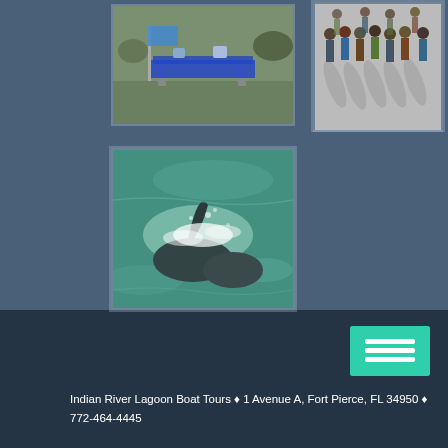[Figure (photo): Outdoor event with a table covered in a blue tablecloth, flags visible, appears to be a fair or market stall]
[Figure (photo): Group of people walking in a crowd or parade, aerial/elevated view, outdoors on pavement]
[Figure (photo): Dolphin or manatee breaching the surface of a greenish body of water, splashing water visible]
[Figure (other): Hamburger/menu icon button in teal/green color]
Indian River Lagoon Boat Tours ♦ 1 Avenue A, Fort Pierce, FL 34950 ♦ 772-464-4445